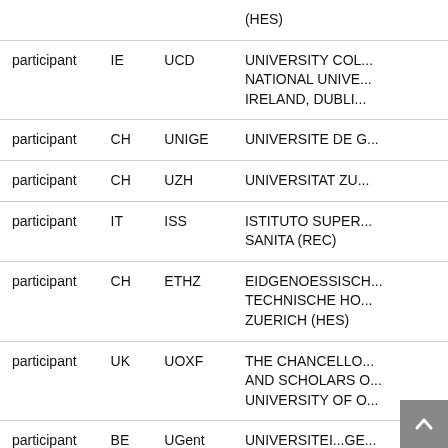| Role | Country | Short name | Full name |
| --- | --- | --- | --- |
|  |  |  | (HES) |
| participant | IE | UCD | UNIVERSITY COL... NATIONAL UNIVE... IRELAND, DUBLI... |
| participant | CH | UNIGE | UNIVERSITE DE G... |
| participant | CH | UZH | UNIVERSITAT ZU... |
| participant | IT | ISS | ISTITUTO SUPER... SANITA (REC) |
| participant | CH | ETHZ | EIDGENOESSISCH... TECHNISCHE HO... ZUERICH (HES) |
| participant | UK | UOXF | THE CHANCELLO... AND SCHOLARS O... UNIVERSITY OF O... |
| participant | BE | UGent | UNIVERSITEI...GE... |